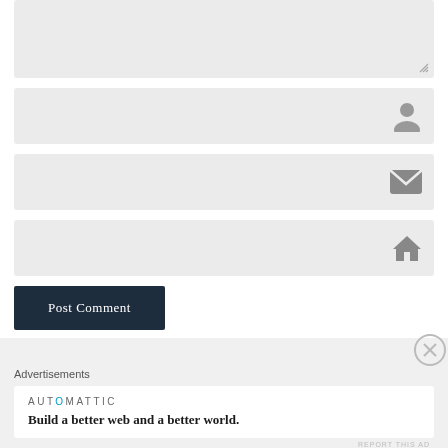[Figure (screenshot): Comment form textarea (large gray input box with resize handle)]
[Figure (screenshot): Name input field with user/person icon on right]
[Figure (screenshot): Email input field with envelope icon on right]
[Figure (screenshot): Website/URL input field with house icon on right]
[Figure (screenshot): Post Comment button, dark navy background, white serif text]
Advertisements
[Figure (screenshot): Automattic advertisement: logo text AUTOMATTIC with blue dot-O, tagline 'Build a better web and a better world.']
REPORT THIS AD